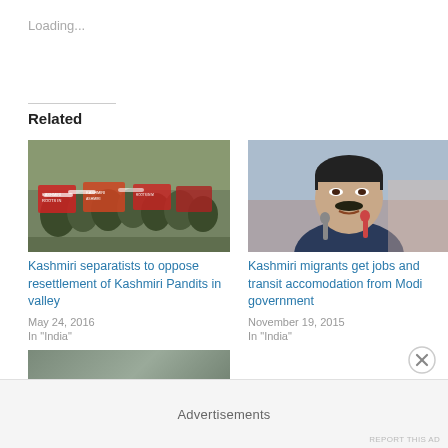Loading...
Related
[Figure (photo): Kashmiri protest crowd holding signs with text about Kashmir and human rights]
Kashmiri separatists to oppose resettlement of Kashmiri Pandits in valley
May 24, 2016
In "India"
[Figure (photo): Close-up portrait of a man with microphones, appearing to be a government official]
Kashmiri migrants get jobs and transit accomodation from Modi government
November 19, 2015
In "India"
[Figure (photo): Partial view of another related article image, cut off at bottom]
Advertisements